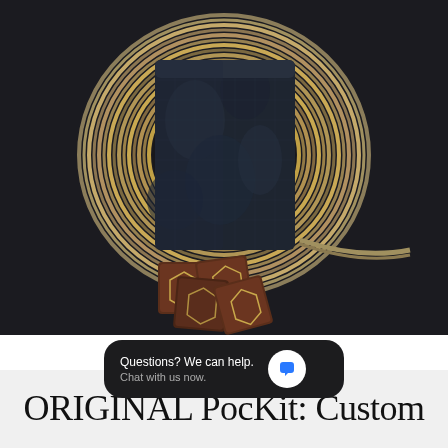[Figure (photo): Dark overhead product photo on a dark navy/black textured fabric background. Center: a folded dark navy/camo wallet or pouch resting inside a coiled tan and striped leather belt loop. Bottom center: several small square brown leather patches with diamond-shaped logo stamps.]
[Figure (screenshot): Dark rounded chat widget overlay: 'Questions? We can help. Chat with us now.' with a white circular icon containing a blue speech bubble on the right.]
ORIGINAL PocKit: Custom